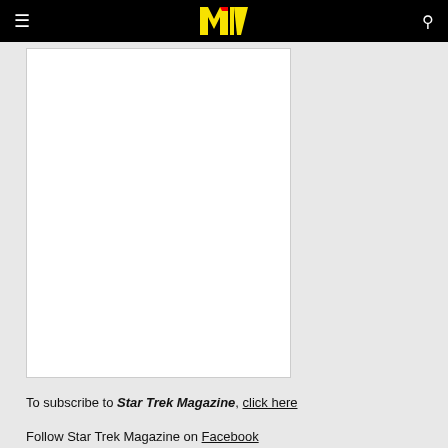MTV navigation bar with logo, hamburger menu, and search icon
[Figure (photo): White rectangular image placeholder (magazine cover area), light gray background with thin border]
To subscribe to Star Trek Magazine, click here
Follow Star Trek Magazine on Facebook